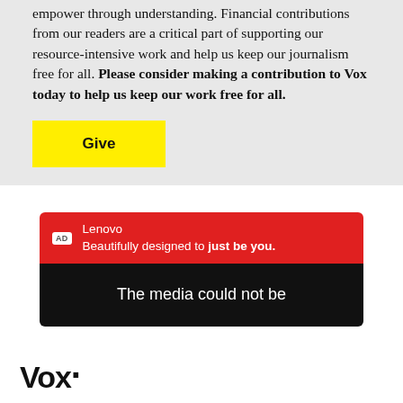empower through understanding. Financial contributions from our readers are a critical part of supporting our resource-intensive work and help us keep our journalism free for all. Please consider making a contribution to Vox today to help us keep our work free for all.
[Figure (other): Yellow 'Give' button]
[Figure (other): Lenovo advertisement with red header showing 'AD Lenovo Beautifully designed to just be you.' and a black video panel showing 'The media could not be']
[Figure (logo): Vox logo in bold black text at bottom left]